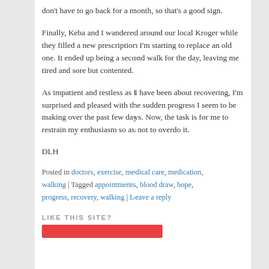don't have to go back for a month, so that's a good sign.
Finally, Keba and I wandered around our local Kroger while they filled a new prescription I'm starting to replace an old one. It ended up being a second walk for the day, leaving me tired and sore but contented.
As impatient and restless as I have been about recovering, I'm surprised and pleased with the sudden progress I seem to be making over the past few days. Now, the task is for me to restrain my enthusiasm so as not to overdo it.
DLH
Posted in doctors, exercise, medical care, medication, walking | Tagged appointments, blood draw, hope, progress, recovery, walking | Leave a reply
LIKE THIS SITE?